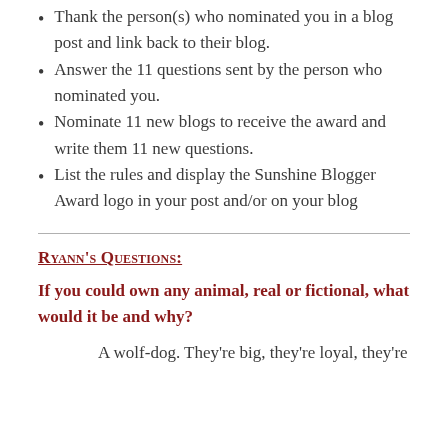Thank the person(s) who nominated you in a blog post and link back to their blog.
Answer the 11 questions sent by the person who nominated you.
Nominate 11 new blogs to receive the award and write them 11 new questions.
List the rules and display the Sunshine Blogger Award logo in your post and/or on your blog
Ryann's Questions:
If you could own any animal, real or fictional, what would it be and why?
A wolf-dog. They're big, they're loyal, they're